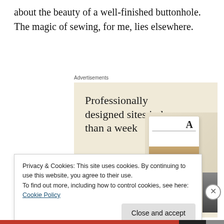about the beauty of a well-finished buttonhole. The magic of sewing, for me, lies elsewhere.
Advertisements
[Figure (illustration): Advertisement banner with beige background showing text 'Professionally designed sites in less than a week' with a green 'Explore options' button and website mockup images on the right.]
Privacy & Cookies: This site uses cookies. By continuing to use this website, you agree to their use.
To find out more, including how to control cookies, see here: Cookie Policy
Close and accept